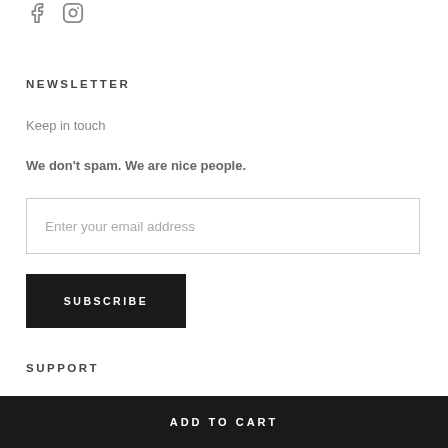[Figure (other): Social media icons: Facebook (f) and Instagram (camera icon) in gray]
NEWSLETTER
Keep in touch
We don't spam. We are nice people.
Enter your email address
SUBSCRIBE
SUPPORT
ADD TO CART